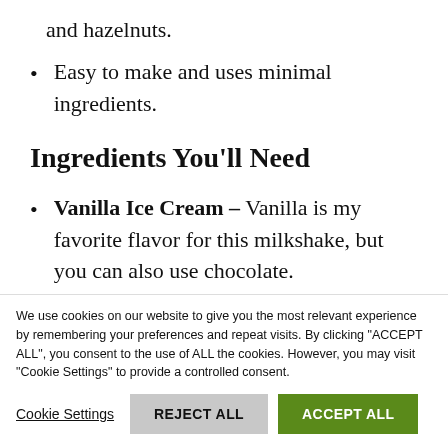and hazelnuts.
Easy to make and uses minimal ingredients.
Ingredients You'll Need
Vanilla Ice Cream – Vanilla is my favorite flavor for this milkshake, but you can also use chocolate.
We use cookies on our website to give you the most relevant experience by remembering your preferences and repeat visits. By clicking "ACCEPT ALL", you consent to the use of ALL the cookies. However, you may visit "Cookie Settings" to provide a controlled consent.